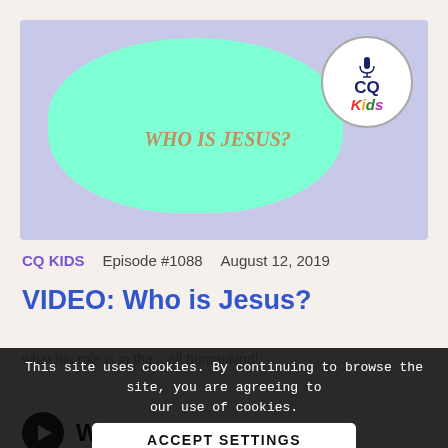[Figure (screenshot): Video thumbnail showing a light purple background with a large teal cloud shape, text 'WHO IS JESUS?' in italic brown/gold, and a CQ Kids podcast logo in a circle in the upper right.]
CQ KIDS   Episode #1088   August 12, 2019
VIDEO: Who is Jesus?
This site uses cookies. By continuing to browse the site, you are agreeing to our use of cookies.
ACCEPT SETTINGS
what his role is in the... all humankind!
WATCH NOW